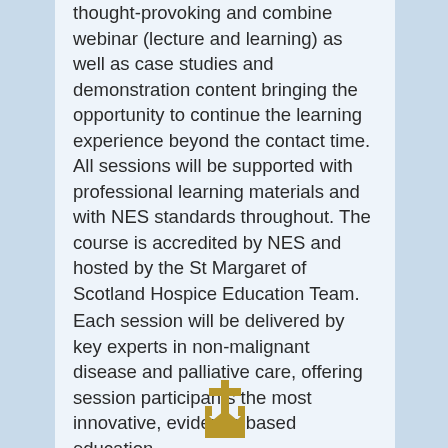thought-provoking and combine webinar (lecture and learning) as well as case studies and demonstration content bringing the opportunity to continue the learning experience beyond the contact time. All sessions will be supported with professional learning materials and with NES standards throughout. The course is accredited by NES and hosted by the St Margaret of Scotland Hospice Education Team.
Each session will be delivered by key experts in non-malignant disease and palliative care, offering session participants the most innovative, evidence based education.
[Figure (logo): Gold/dark yellow cross and crown logo of St Margaret of Scotland Hospice, partially visible at bottom of page]